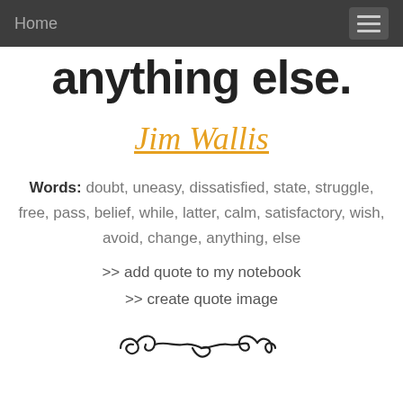Home
anything else.
Jim Wallis
Words: doubt, uneasy, dissatisfied, state, struggle, free, pass, belief, while, latter, calm, satisfactory, wish, avoid, change, anything, else
>> add quote to my notebook
>> create quote image
[Figure (illustration): Decorative flourish / ornament divider]